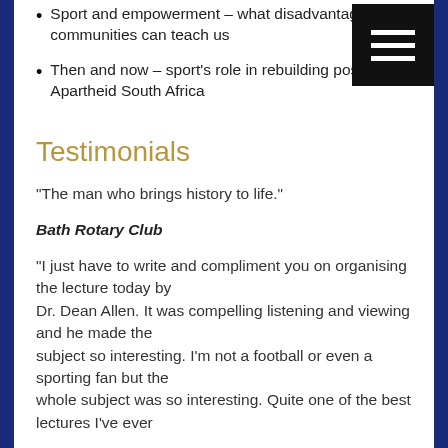Sport and empowerment – what disadvantaged communities can teach us
Then and now – sport's role in rebuilding post-Apartheid South Africa
Testimonials
“The man who brings history to life.”
Bath Rotary Club
“I just have to write and compliment you on organising the lecture today by Dr. Dean Allen. It was compelling listening and viewing and he made the subject so interesting. I’m not a football or even a sporting fan but the whole subject was so interesting. Quite one of the best lectures I’ve ever